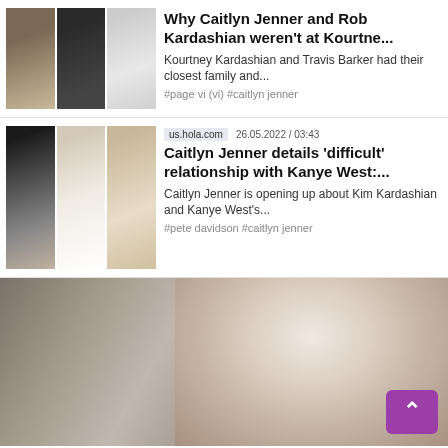[Figure (photo): Three celebrity photos side by side: woman in dark outfit, man in black shirt, woman in white dress]
Why Caitlyn Jenner and Rob Kardashian weren't at Kourtne...
Kourtney Kardashian and Travis Barker had their closest family and...
#page vi (vi) #caitlyn jenner
[Figure (photo): Three celebrity photos: couple at event, woman in white dress, couple at formal event]
us.hola.com   26.05.2022 / 03:43
Caitlyn Jenner details 'difficult' relationship with Kanye West:...
Caitlyn Jenner is opening up about Kim Kardashian and Kanye West's...
#pete davidson #caitlyn jenner
[Figure (photo): Selfie image showing two women, one facing away with blonde hair, one facing forward with blonde hair]